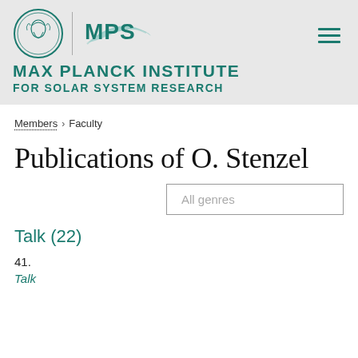[Figure (logo): Max Planck Institute for Solar System Research logo with MPS text and circular emblem]
MAX PLANCK INSTITUTE FOR SOLAR SYSTEM RESEARCH
Members > Faculty
Publications of O. Stenzel
All genres
Talk (22)
41.
Talk